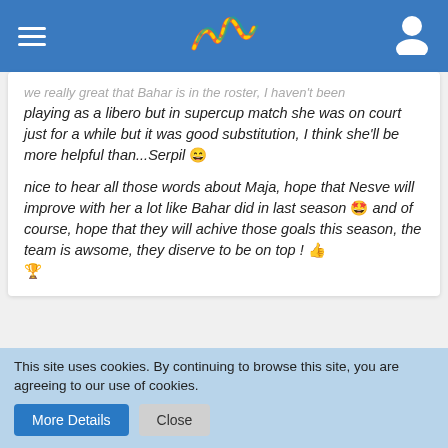Navigation bar with hamburger menu, logo, and user icon
playing as a libero but in supercup match she was on court just for a while but it was good substitution, I think she'll be more helpful than...Serpil 😄
nice to hear all those words about Maja, hope that Nesve will improve with her a lot like Bahar did in last season 🤓 and of course, hope that they will achive those goals this season, the team is awsome, they diserve to be on top ! 👍 🏆
you're right about serpil 🐝🐝 but ı dont think like you about neşve.she had chance for improve herself a few years ago in eczacıbaşı a team,but didnt improve herself.she always only jump and block(she doesnt good block) but not attack.think neither
This site uses cookies. By continuing to browse this site, you are agreeing to our use of cookies.